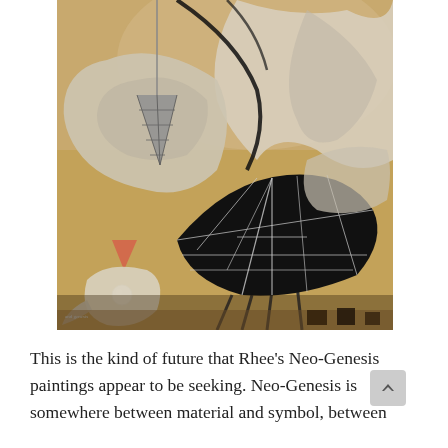[Figure (photo): A painting in warm golden-brown tones featuring abstract figurative forms. Prominent elements include a large black geometric diamond/umbrella shape on legs in the center, white bird-like or animal forms, a hanging grey cone shape on the left, a small orange triangle, and various abstract layered shapes against a textured golden background.]
This is the kind of future that Rhee's Neo-Genesis paintings appear to be seeking. Neo-Genesis is somewhere between material and symbol, between